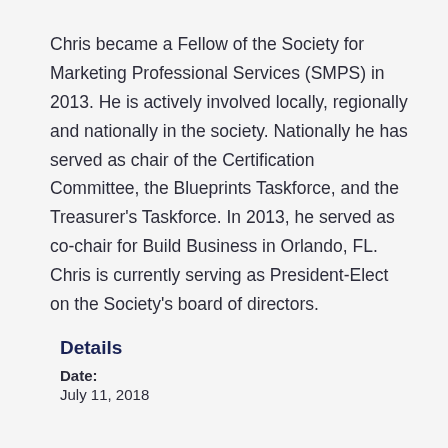Chris became a Fellow of the Society for Marketing Professional Services (SMPS) in 2013. He is actively involved locally, regionally and nationally in the society. Nationally he has served as chair of the Certification Committee, the Blueprints Taskforce, and the Treasurer's Taskforce. In 2013, he served as co-chair for Build Business in Orlando, FL. Chris is currently serving as President-Elect on the Society's board of directors.
Details
Date:
July 11, 2018